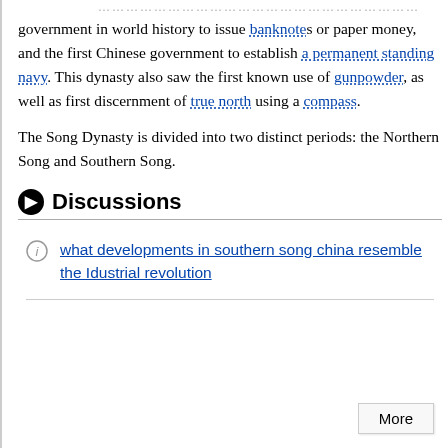government in world history to issue banknotes or paper money, and the first Chinese government to establish a permanent standing navy. This dynasty also saw the first known use of gunpowder, as well as first discernment of true north using a compass.
The Song Dynasty is divided into two distinct periods: the Northern Song and Southern Song.
Discussions
what developments in southern song china resemble the Idustrial revolution
More